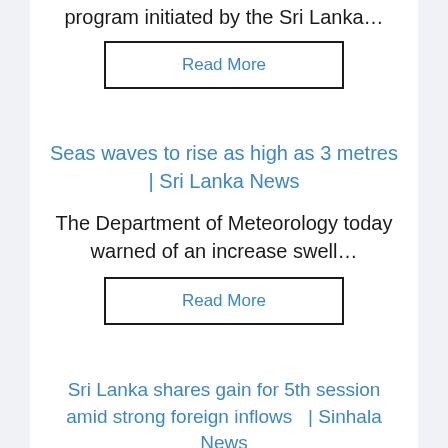program initiated by the Sri Lanka…
Read More
Seas waves to rise as high as 3 metres | Sri Lanka News
The Department of Meteorology today warned of an increase swell…
Read More
Sri Lanka shares gain for 5th session amid strong foreign inflows  | Sinhala News
Sri lanka News – Sri Lanka stocks